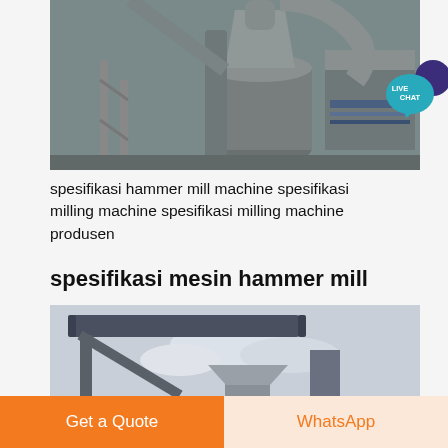[Figure (photo): Industrial hammer mill machinery with cylindrical tanks, pipes and metal structures in a factory setting]
spesifikasi hammer mill machine spesifikasi milling machine spesifikasi milling machine produsen
spesifikasi mesin hammer mill
[Figure (photo): Industrial conveyor and milling equipment outdoors against a cloudy sky]
Get a Quote
WhatsApp